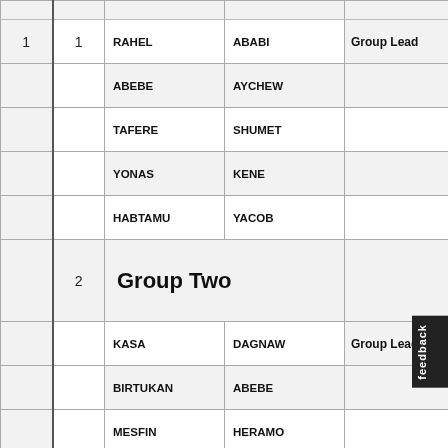|  |  | First Name | Last Name | Role |
| --- | --- | --- | --- | --- |
| 1 | 1 | RAHEL | ABABI | Group Lead |
|  |  | ABEBE | AYCHEW |  |
|  |  | TAFERE | SHUMET |  |
|  |  | YONAS | KENE |  |
|  |  | HABTAMU | YACOB |  |
|  | 2 | Group Two |  |  |
|  |  | KASA | DAGNAW | Group Lead |
|  |  | BIRTUKAN | ABEBE |  |
|  |  | MESFIN | HERAMO |  |
|  |  | BELACHEW | REGASSA |  |
|  |  | DEJEN | TADELE |  |